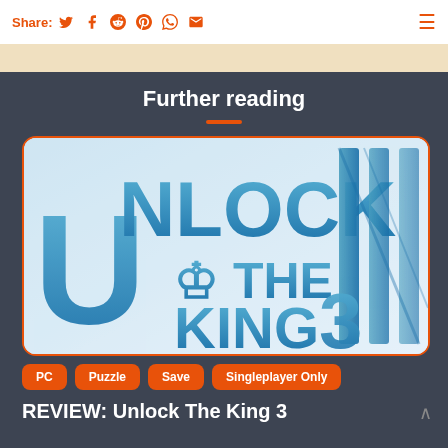Share: [twitter] [facebook] [reddit] [pinterest] [whatsapp] [email]
Further reading
[Figure (illustration): Unlock The King 3 game logo on light blue/white background with chess king icon]
PC
Puzzle
Save
Singleplayer Only
REVIEW: Unlock The King 3